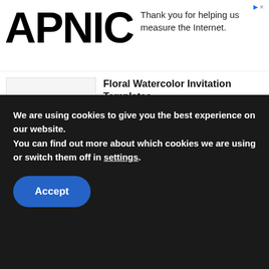[Figure (logo): APNIC logo in bold black letters]
Thank you for helping us measure the Internet.
Floral Watercolor Invitation Templates — DECEMBER 3, 2019
(FREE PRINTABLE) – Blue Floral Wedding Invitation Template — DECEMBER 20, 2019
24++ FREE Printable Floral Watercolor Invitation Templates – for ANY OCCASIONS!
We are using cookies to give you the best experience on our website.
You can find out more about which cookies we are using or switch them off in settings.
Accept